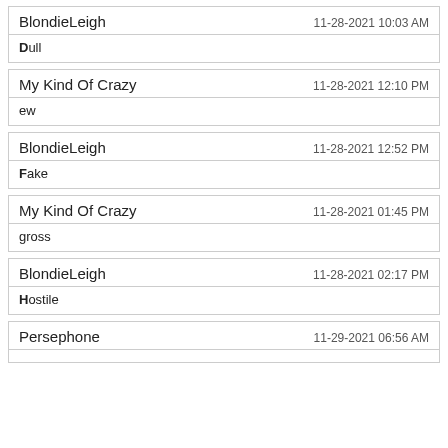BlondieLeigh | 11-28-2021 10:03 AM | Dull
My Kind Of Crazy | 11-28-2021 12:10 PM | ew
BlondieLeigh | 11-28-2021 12:52 PM | Fake
My Kind Of Crazy | 11-28-2021 01:45 PM | gross
BlondieLeigh | 11-28-2021 02:17 PM | Hostile
Persephone | 11-29-2021 06:56 AM